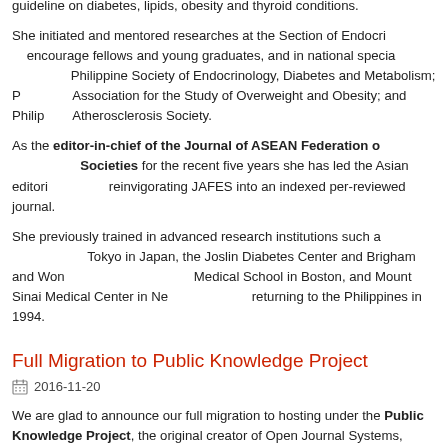guideline on diabetes, lipids, obesity and thyroid conditions.
She initiated and mentored researches at the Section of Endocrinology to encourage fellows and young graduates, and in national specialty societies: Philippine Society of Endocrinology, Diabetes and Metabolism; Philippine Association for the Study of Overweight and Obesity; and Philippine Atherosclerosis Society.
As the editor-in-chief of the Journal of ASEAN Federation of Endocrine Societies for the recent five years she has led the Asian editorial team in reinvigorating JAFES into an indexed per-reviewed journal.
She previously trained in advanced research institutions such as Keio University in Tokyo in Japan, the Joslin Diabetes Center and Brigham and Women's Hospital Harvard Medical School in Boston, and Mount Sinai Medical Center in New York before returning to the Philippines in 1994.
Full Migration to Public Knowledge Project
2016-11-20
We are glad to announce our full migration to hosting under the Public Knowledge Project, the original creator of Open Journal Systems, beginning November 2016. Check out the new look of our website aligned with the journal's new brand and optimized for better article visualization.